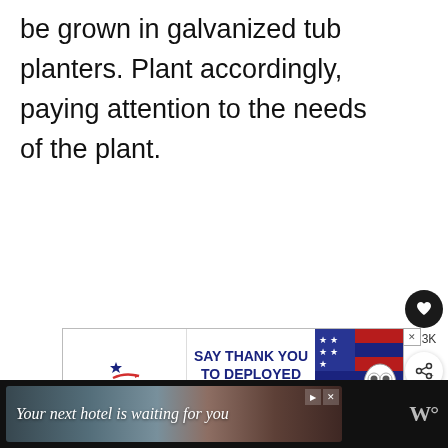be grown in galvanized tub planters. Plant accordingly, paying attention to the needs of the plant.
[Figure (other): Advertisement banner for Operation Gratitude: 'SAY THANK YOU TO DEPLOYED TROOPS' with patriotic imagery including stars, stripes, and a cartoon owl in military gear]
[Figure (other): Bottom advertisement banner on dark background: 'Your next hotel is waiting for you' with a scenic hotel photo. Contains play and close controls on the right with a 'W' logo.]